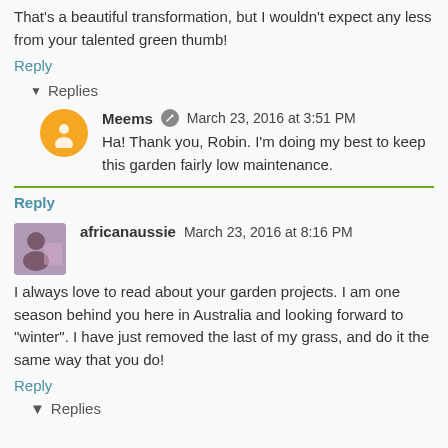That's a beautiful transformation, but I wouldn't expect any less from your talented green thumb!
Reply
▾ Replies
Meems  March 23, 2016 at 3:51 PM
Ha! Thank you, Robin. I'm doing my best to keep this garden fairly low maintenance.
Reply
africanaussie  March 23, 2016 at 8:16 PM
I always love to read about your garden projects. I am one season behind you here in Australia and looking forward to "winter". I have just removed the last of my grass, and do it the same way that you do!
Reply
▾ Replies